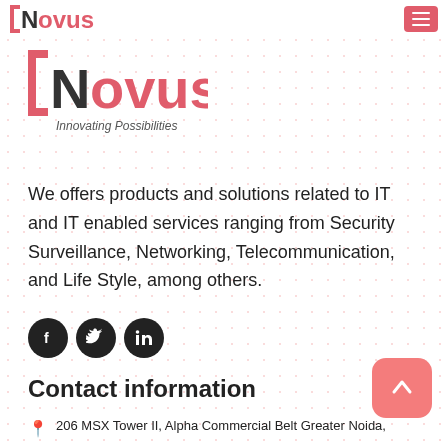Novus — Innovating Possibilities (navigation bar with logo and hamburger menu)
[Figure (logo): Novus logo with red square bracket icon and tagline 'Innovating Possibilities']
We offers products and solutions related to IT and IT enabled services ranging from Security Surveillance, Networking, Telecommunication, and Life Style, among others.
[Figure (infographic): Social media icons: Facebook, Twitter, LinkedIn (dark circles)]
Contact information
206 MSX Tower II, Alpha Commercial Belt Greater Noida,